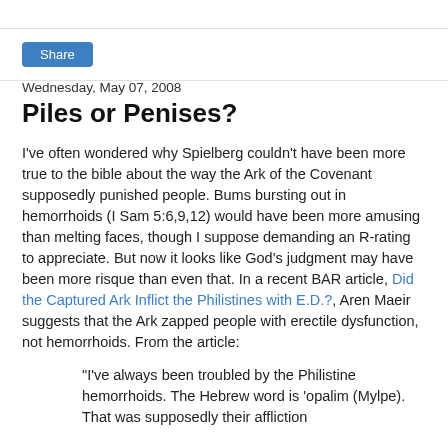Share
Wednesday, May 07, 2008
Piles or Penises?
I've often wondered why Spielberg couldn't have been more true to the bible about the way the Ark of the Covenant supposedly punished people. Bums bursting out in hemorrhoids (I Sam 5:6,9,12) would have been more amusing than melting faces, though I suppose demanding an R-rating to appreciate. But now it looks like God's judgment may have been more risque than even that. In a recent BAR article, Did the Captured Ark Inflict the Philistines with E.D.?, Aren Maeir suggests that the Ark zapped people with erectile dysfunction, not hemorrhoids. From the article:
"I've always been troubled by the Philistine hemorrhoids. The Hebrew word is 'opalim (Mylpe). That was supposedly their affliction